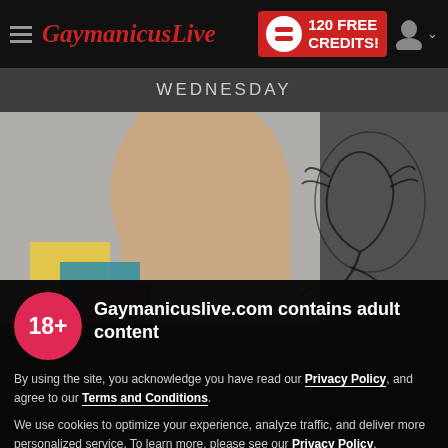GaymanicusLive — 120 FREE CREDITS!
WEDNESDAY
[Figure (photo): Shirtless male torso with a large scorpion tattoo on the chest/shoulder area, photographed against a grey background with colorful geometric shapes in the lower left]
Gaymanicuslive.com contains adult content
By using the site, you acknowledge you have read our Privacy Policy, and agree to our Terms and Conditions.
We use cookies to optimize your experience, analyze traffic, and deliver more personalized service. To learn more, please see our Privacy Policy.
I AGREE